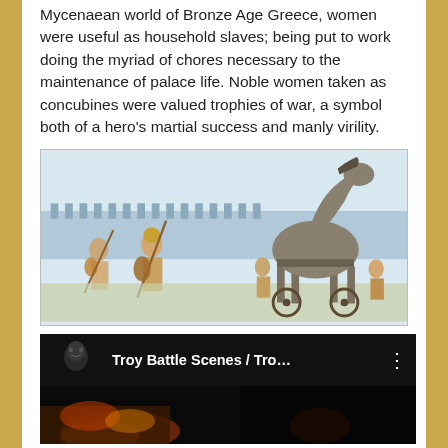Mycenaean world of Bronze Age Greece, women were useful as household slaves; being put to work doing the myriad of chores necessary to the maintenance of palace life. Noble women taken as concubines were valued trophies of war, a symbol both of a hero's martial success and manly virility.
[Figure (illustration): Illustration depicting the Trojan Horse and warriors in battle at Troy, showing armed soldiers and the large wooden horse on wheels.]
[Figure (screenshot): Screenshot of a YouTube video titled 'Troy Battle Scenes / Tro...' with a dark thumbnail showing a face and a menu icon.]